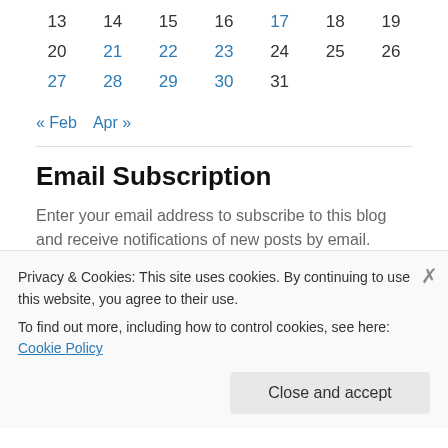| 13 | 14 | 15 | 16 | 17 | 18 | 19 |
| 20 | 21 | 22 | 23 | 24 | 25 | 26 |
| 27 | 28 | 29 | 30 | 31 |  |  |
« Feb   Apr »
Email Subscription
Enter your email address to subscribe to this blog and receive notifications of new posts by email.
Enter your email address
Privacy & Cookies: This site uses cookies. By continuing to use this website, you agree to their use.
To find out more, including how to control cookies, see here: Cookie Policy
Close and accept